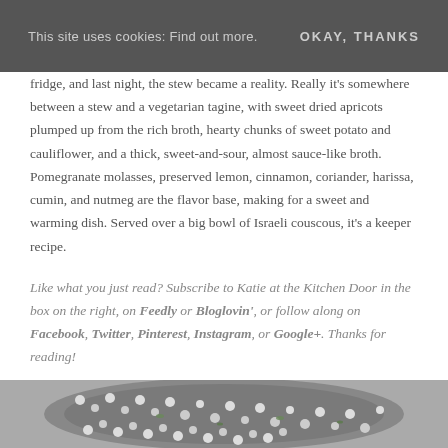This site uses cookies: Find out more.    OKAY, THANKS
fridge, and last night, the stew became a reality. Really it's somewhere between a stew and a vegetarian tagine, with sweet dried apricots plumped up from the rich broth, hearty chunks of sweet potato and cauliflower, and a thick, sweet-and-sour, almost sauce-like broth. Pomegranate molasses, preserved lemon, cinnamon, coriander, harissa, cumin, and nutmeg are the flavor base, making for a sweet and warming dish. Served over a big bowl of Israeli couscous, it's a keeper recipe.
Like what you just read? Subscribe to Katie at the Kitchen Door in the box on the right, on Feedly or Bloglovin', or follow along on Facebook, Twitter, Pinterest, Instagram, or Google+. Thanks for reading!
[Figure (photo): Photo of Israeli couscous in a bowl, viewed from above, showing small round white couscous pearls with green herbs]